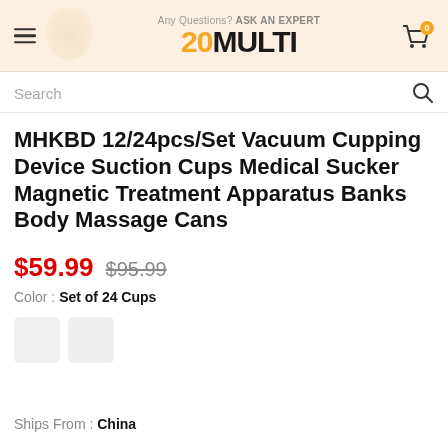20MULTI — Any Questions? Ask An Expert
Search
MHKBD 12/24pcs/Set Vacuum Cupping Device Suction Cups Medical Sucker Magnetic Treatment Apparatus Banks Body Massage Cans
$59.99  $95.99
Color : Set of 24 Cups
Ships From : China